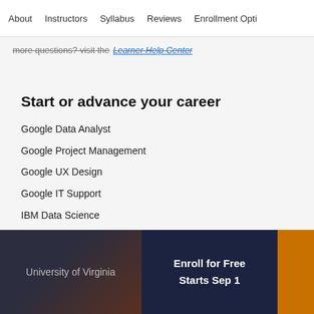About    Instructors    Syllabus    Reviews    Enrollment Opti
more questions? visit the Learner Help Center
Start or advance your career
Google Data Analyst
Google Project Management
Google UX Design
Google IT Support
IBM Data Science
University of Virginia
Enroll for Free
Starts Sep 1